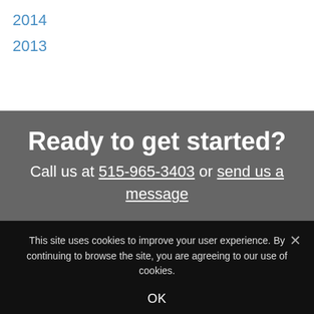2014
2013
Ready to get started?
Call us at 515-965-3403 or send us a message
This site uses cookies to improve your user experience. By continuing to browse the site, you are agreeing to our use of cookies.
OK